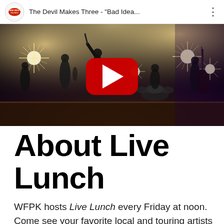[Figure (screenshot): YouTube video thumbnail showing The Devil Makes Three performing on stage with bright star-burst stage lights. The video bar at top shows a New West Records logo circle and the title 'The Devil Makes Three - "Bad Idea...' with a vertical dots menu icon. A large red YouTube play button is centered over the concert photograph.]
About Live Lunch
WFPK hosts Live Lunch every Friday at noon. Come see your favorite local and touring artists